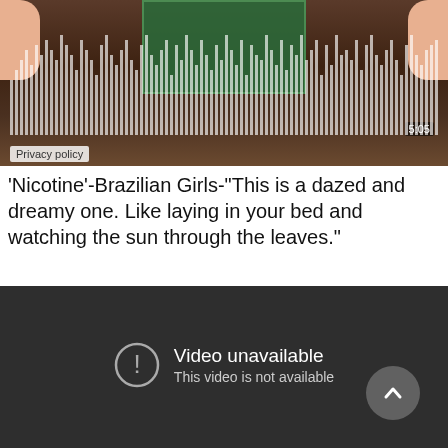[Figure (screenshot): Screenshot of an audio player showing waveform visualization of a music track with timestamp 5:05, overlaid on what appears to be a green decorated card held by hands, with a Privacy policy label at bottom left.]
'Nicotine'-Brazilian Girls-"This is a dazed and dreamy one. Like laying in your bed and watching the sun through the leaves."
[Figure (screenshot): Dark video player showing 'Video unavailable - This video is not available' error message with exclamation icon and an upward arrow button in bottom right.]